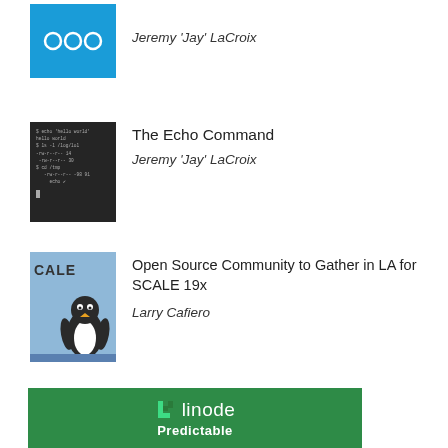[Figure (logo): Blue Nextcloud-style logo thumbnail]
Jeremy 'Jay' LaCroix
[Figure (screenshot): Dark terminal/command line screenshot thumbnail]
The Echo Command
Jeremy 'Jay' LaCroix
[Figure (illustration): SCALE 19x logo with penguin on blue background]
Open Source Community to Gather in LA for SCALE 19x
Larry Cafiero
[Figure (logo): Linode advertisement banner with green background showing Linode logo and text 'Predictable']